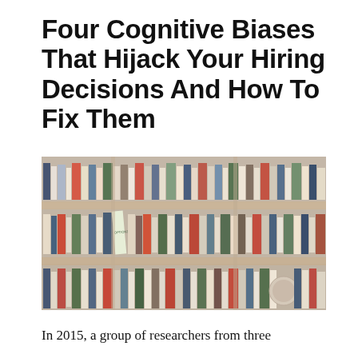Four Cognitive Biases That Hijack Your Hiring Decisions And How To Fix Them
[Figure (photo): Photograph of bookshelves filled with many colorful books, viewed from a slight angle. Multiple shelves are visible with a variety of book spines in different colors and sizes.]
In 2015, a group of researchers from three